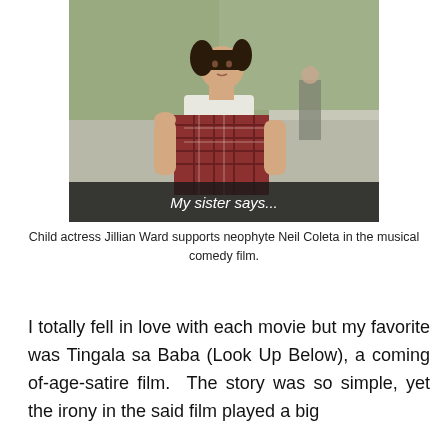[Figure (photo): A young girl (child actress Jillian Ward) in a plaid dress and white scarf stands outdoors. A subtitle bar reads 'My sister says...' at the bottom of the image. Another child is visible in the background.]
Child actress Jillian Ward supports neophyte Neil Coleta in the musical comedy film.
I totally fell in love with each movie but my favorite was Tingala sa Baba (Look Up Below), a coming of-age-satire film.  The story was so simple, yet the irony in the said film played a big